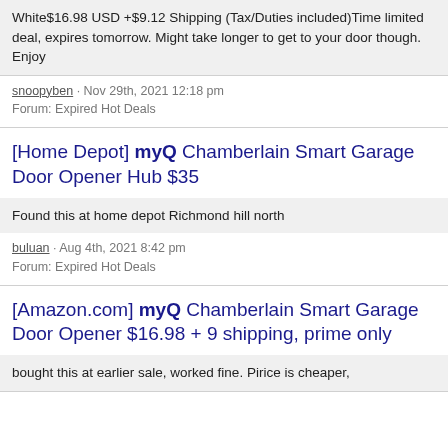White$16.98 USD +$9.12 Shipping (Tax/Duties included)Time limited deal, expires tomorrow. Might take longer to get to your door though. Enjoy
snoopyben · Nov 29th, 2021 12:18 pm
Forum: Expired Hot Deals
[Home Depot] myQ Chamberlain Smart Garage Door Opener Hub $35
Found this at home depot Richmond hill north
buluan · Aug 4th, 2021 8:42 pm
Forum: Expired Hot Deals
[Amazon.com] myQ Chamberlain Smart Garage Door Opener $16.98 + 9 shipping, prime only
bought this at earlier sale, worked fine. Pirice is cheaper,